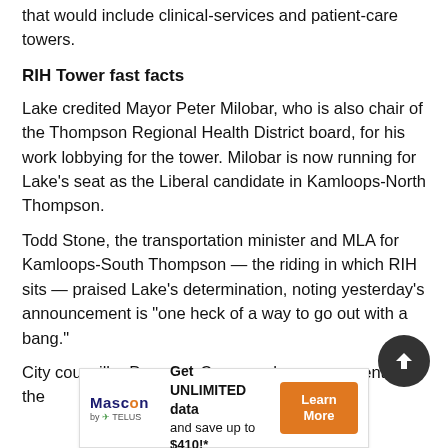that would include clinical-services and patient-care towers.
RIH Tower fast facts
Lake credited Mayor Peter Milobar, who is also chair of the Thompson Regional Health District board, for his work lobbying for the tower. Milobar is now running for Lake’s seat as the Liberal candidate in Kamloops-North Thompson.
Todd Stone, the transportation minister and MLA for Kamloops-South Thompson — the riding in which RIH sits — praised Lake’s determination, noting yesterday’s announcement is “one heck of a way to go out with a bang.”
City councillor Donovan Cavers, who was present for the
[Figure (other): Advertisement banner for Mascon by TELUS: Get UNLIMITED data and save up to $410!* with a Learn More button]